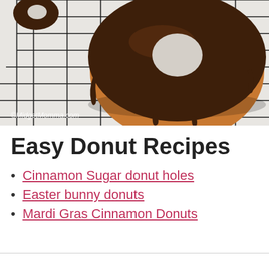[Figure (photo): A chocolate-glazed donut sitting on a metal wire cooling rack, viewed from above at a slight angle. The donut is covered in dark chocolate glaze. A watermark reads ©MidgetMomma.com in the lower left corner.]
Easy Donut Recipes
Cinnamon Sugar donut holes
Easter bunny donuts
Mardi Gras Cinnamon Donuts